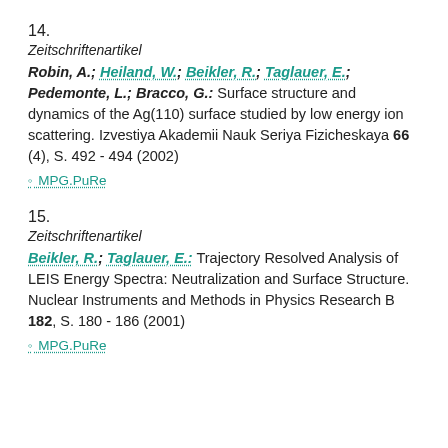14.
Zeitschriftenartikel
Robin, A.; Heiland, W.; Beikler, R.; Taglauer, E.; Pedemonte, L.; Bracco, G.: Surface structure and dynamics of the Ag(110) surface studied by low energy ion scattering. Izvestiya Akademii Nauk Seriya Fizicheskaya 66 (4), S. 492 - 494 (2002)
MPG.PuRe
15.
Zeitschriftenartikel
Beikler, R.; Taglauer, E.: Trajectory Resolved Analysis of LEIS Energy Spectra: Neutralization and Surface Structure. Nuclear Instruments and Methods in Physics Research B 182, S. 180 - 186 (2001)
MPG.PuRe